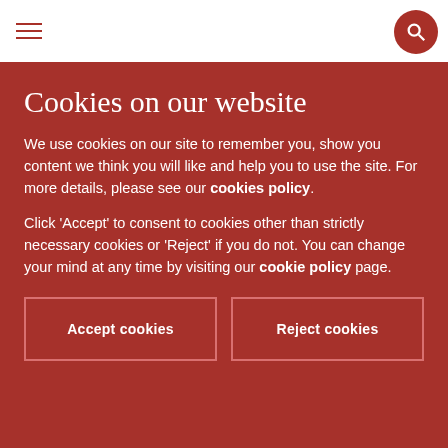Allen & Overy
Cookies on our website
We use cookies on our site to remember you, show you content we think you will like and help you to use the site. For more details, please see our cookies policy.
Click ‘Accept’ to consent to cookies other than strictly necessary cookies or ‘Reject’ if you do not. You can change your mind at any time by visiting our cookie policy page.
Accept cookies
Reject cookies